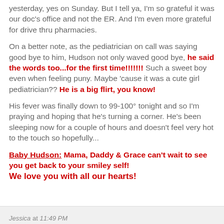yesterday, yes on Sunday. But I tell ya, I'm so grateful it was our doc's office and not the ER. And I'm even more grateful for drive thru pharmacies.
On a better note, as the pediatrician on call was saying good bye to him, Hudson not only waved good bye, he said the words too...for the first time!!!!!!! Such a sweet boy even when feeling puny. Maybe 'cause it was a cute girl pediatrician?? He is a big flirt, you know!
His fever was finally down to 99-100° tonight and so I'm praying and hoping that he's turning a corner. He's been sleeping now for a couple of hours and doesn't feel very hot to the touch so hopefully...
Baby Hudson: Mama, Daddy & Grace can't wait to see you get back to your smiley self! We love you with all our hearts!
Jessica at 11:49 PM